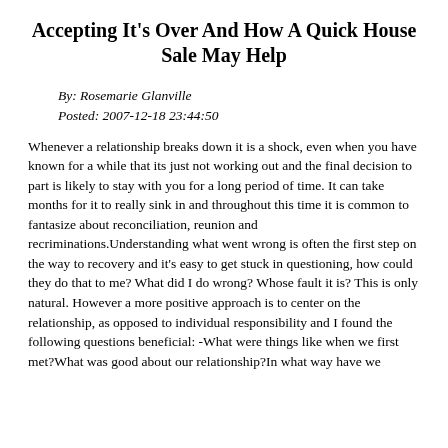Accepting It's Over And How A Quick House Sale May Help
By: Rosemarie Glanville
Posted: 2007-12-18 23:44:50
Whenever a relationship breaks down it is a shock, even when you have known for a while that its just not working out and the final decision to part is likely to stay with you for a long period of time. It can take months for it to really sink in and throughout this time it is common to fantasize about reconciliation, reunion and recriminations.Understanding what went wrong is often the first step on the way to recovery and it's easy to get stuck in questioning, how could they do that to me? What did I do wrong? Whose fault it is? This is only natural. However a more positive approach is to center on the relationship, as opposed to individual responsibility and I found the following questions beneficial: -What were things like when we first met?What was good about our relationship?In what way have we